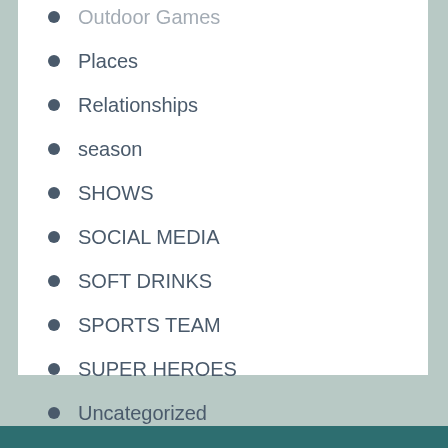Outdoor Games
Places
Relationships
season
SHOWS
SOCIAL MEDIA
SOFT DRINKS
SPORTS TEAM
SUPER HEROES
Uncategorized